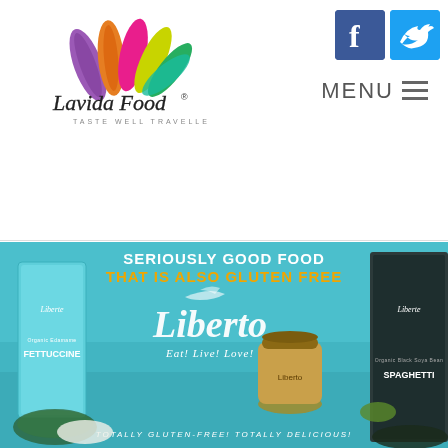[Figure (logo): Lavida Food logo with colorful leaf/petal shapes and text 'Lavida Food - TASTE WELL TRAVELLED']
[Figure (logo): Facebook icon (blue square with f)]
[Figure (logo): Twitter icon (light blue square with bird)]
MENU ≡
[Figure (photo): Liberto brand banner - teal background with 'SERIOUSLY GOOD FOOD THAT IS ALSO GLUTEN FREE' text, Liberto script logo, Eat! Live! Love! tagline, product packages (Fettuccine, Spaghetti), jar, and 'TOTALLY GLUTEN-FREE! TOTALLY DELICIOUS!' text]